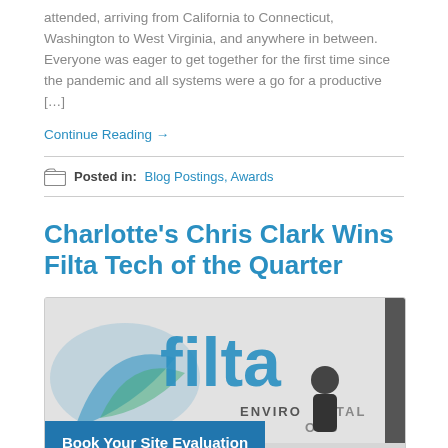attended, arriving from California to Connecticut, Washington to West Virginia, and anywhere in between. Everyone was eager to get together for the first time since the pandemic and all systems were a go for a productive […]
Continue Reading →
Posted in: Blog Postings, Awards
Charlotte's Chris Clark Wins Filta Tech of the Quarter
[Figure (photo): Photo of a person standing in front of a Filta Environmental Solutions van with the Filta logo visible. A blue banner at the bottom reads 'Book Your Site Evaluation'.]